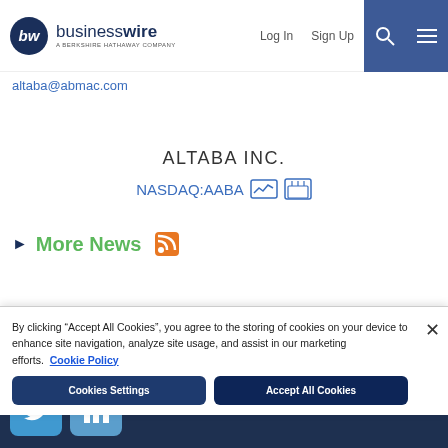businesswire - A Berkshire Hathaway Company | Log In | Sign Up
altaba@abmac.com
ALTABA INC.
NASDAQ:AABA
More News
[Figure (logo): Twitter and LinkedIn social media icon buttons in the dark footer]
By clicking "Accept All Cookies", you agree to the storing of cookies on your device to enhance site navigation, analyze site usage, and assist in our marketing efforts. Cookie Policy
Cookies Settings | Accept All Cookies